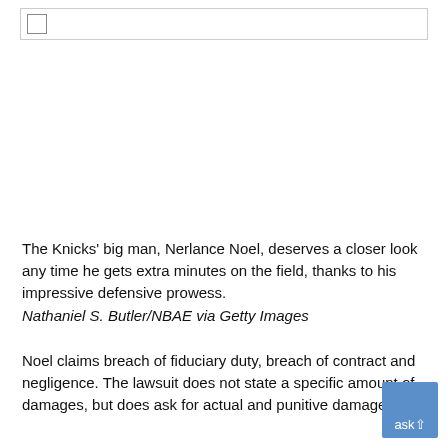The Knicks' big man, Nerlance Noel, deserves a closer look any time he gets extra minutes on the field, thanks to his impressive defensive prowess. Nathaniel S. Butler/NBAE via Getty Images
Noel claims breach of fiduciary duty, breach of contract and negligence. The lawsuit does not state a specific amount of damages, but does ask for actual and punitive damages.